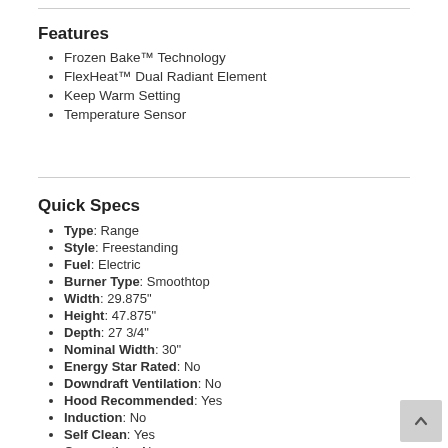Features
Frozen Bake™ Technology
FlexHeat™ Dual Radiant Element
Keep Warm Setting
Temperature Sensor
Quick Specs
Type: Range
Style: Freestanding
Fuel: Electric
Burner Type: Smoothtop
Width: 29.875"
Height: 47.875"
Depth: 27 3/4"
Nominal Width: 30"
Energy Star Rated: No
Downdraft Ventilation: No
Hood Recommended: Yes
Induction: No
Self Clean: Yes
Convection: No